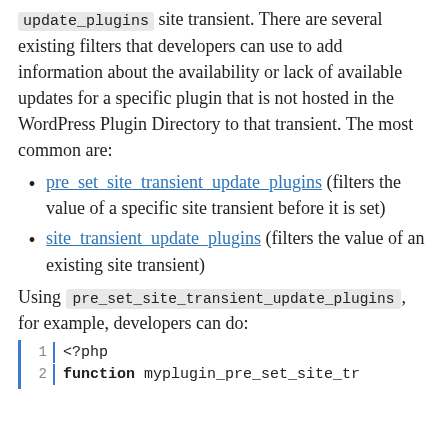update_plugins site transient. There are several existing filters that developers can use to add information about the availability or lack of available updates for a specific plugin that is not hosted in the WordPress Plugin Directory to that transient. The most common are:
pre_set_site_transient_update_plugins (filters the value of a specific site transient before it is set)
site_transient_update_plugins (filters the value of an existing site transient)
Using pre_set_site_transient_update_plugins, for example, developers can do:
1  <?php
2  function myplugin_pre_set_site_tr